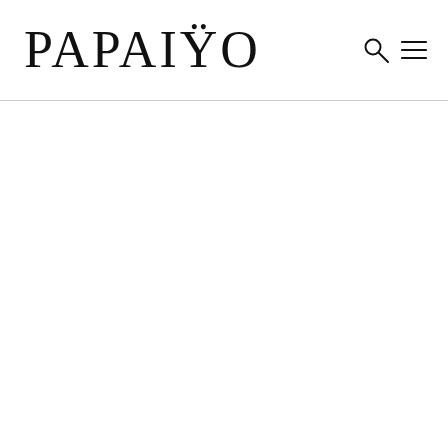PAPAIŸO
[Figure (logo): PAPAIŸO brand logo in large serif font with search and hamburger menu icons on the right]